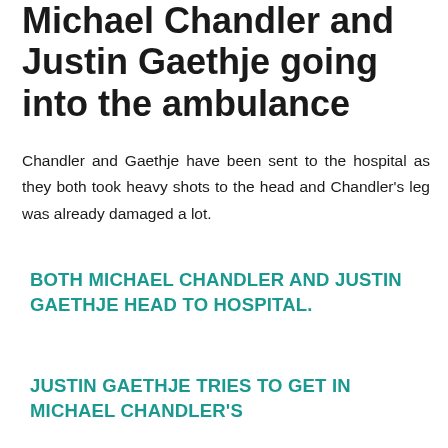Michael Chandler and Justin Gaethje going into the ambulance
Chandler and Gaethje have been sent to the hospital as they both took heavy shots to the head and Chandler's leg was already damaged a lot.
BOTH MICHAEL CHANDLER AND JUSTIN GAETHJE HEAD TO HOSPITAL.
JUSTIN GAETHJE TRIES TO GET IN MICHAEL CHANDLER'S